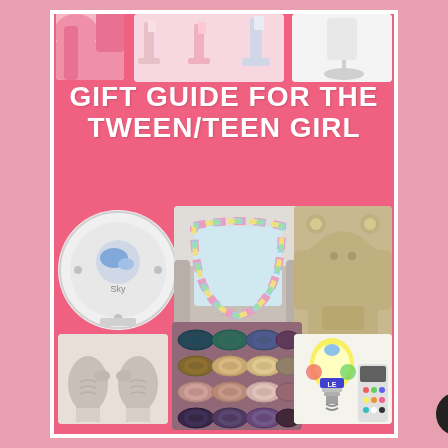[Figure (infographic): Gift guide collage for tween/teen girl on pink background with white border, featuring product photos: pink hoodie, pink lamps, white phone stand, Sega Sky star projector, rainbow tie-dye blanket, tan bear-ear hoodie, gray cable knit mittens, multicolor velvet scrunchie set, LE RGB color-changing light bulb with remote]
GIFT GUIDE FOR THE TWEEN/TEEN GIRL